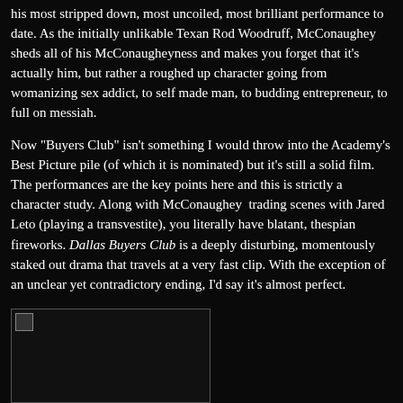his most stripped down, most uncoiled, most brilliant performance to date. As the initially unlikable Texan Rod Woodruff, McConaughey sheds all of his McConaugheyness and makes you forget that it's actually him, but rather a roughed up character going from womanizing sex addict, to self made man, to budding entrepreneur, to full on messiah.
Now "Buyers Club" isn't something I would throw into the Academy's Best Picture pile (of which it is nominated) but it's still a solid film. The performances are the key points here and this is strictly a character study. Along with McConaughey  trading scenes with Jared Leto (playing a transvestite), you literally have blatant, thespian fireworks. Dallas Buyers Club is a deeply disturbing, momentously staked out drama that travels at a very fast clip. With the exception of an unclear yet contradictory ending, I'd say it's almost perfect.
[Figure (photo): A broken/missing image placeholder shown as a small icon in the top-left corner of a dark rectangular box with a border.]